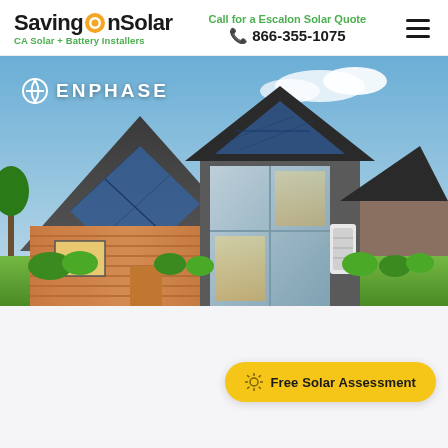SavingOnSolar — CA Solar + Battery Installers
Call for a Escalon Solar Quote
☎ 866-355-1075
[Figure (photo): Modern house with solar panels on roof, Enphase branding overlay, battery storage unit visible on exterior wall, surrounded by green landscaping]
Free Solar Assessment